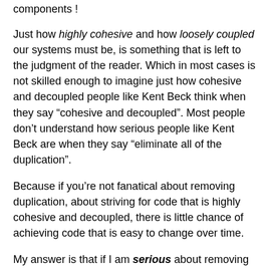components !
Just how highly cohesive and how loosely coupled our systems must be, is something that is left to the judgment of the reader. Which in most cases is not skilled enough to imagine just how cohesive and decoupled people like Kent Beck think when they say “cohesive and decoupled”. Most people don’t understand how serious people like Kent Beck are when they say “eliminate all of the duplication”.
Because if you’re not fanatical about removing duplication, about striving for code that is highly cohesive and decoupled, there is little chance of achieving code that is easy to change over time.
My answer is that if I am serious about removing duplication, then I will *not* have code like <a href='foo'>bar</a> written in more than one place; let alone in hundreds of places. I will have a single function, a single method, a single place where the html link is generated. Then when the